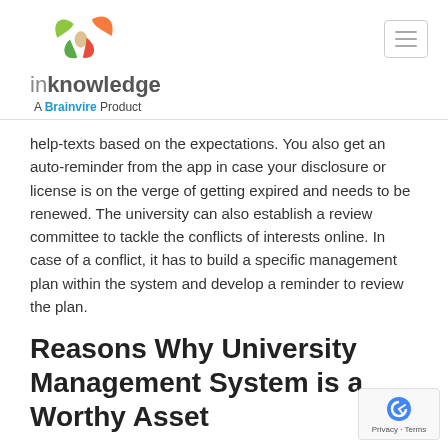inknowledge – A Brainvire Product
help-texts based on the expectations. You also get an auto-reminder from the app in case your disclosure or license is on the verge of getting expired and needs to be renewed. The university can also establish a review committee to tackle the conflicts of interests online. In case of a conflict, it has to build a specific management plan within the system and develop a reminder to review the plan.
Reasons Why University Management System is a Worthy Asset
1. Customizable